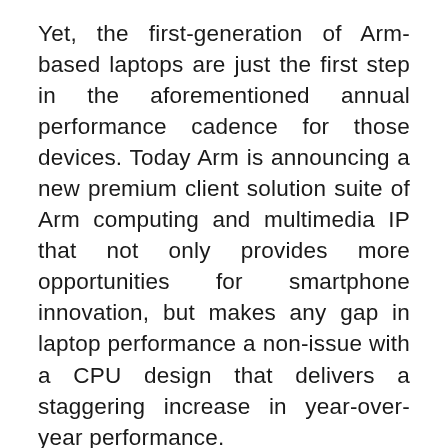Yet, the first-generation of Arm-based laptops are just the first step in the aforementioned annual performance cadence for those devices. Today Arm is announcing a new premium client solution suite of Arm computing and multimedia IP that not only provides more opportunities for smartphone innovation, but makes any gap in laptop performance a non-issue with a CPU design that delivers a staggering increase in year-over-year performance.
Our new client IP platform solution for 2019 has generated a level of excitement within our ecosystem which I have never seen during my 5+ years at Arm thanks to the possibilities it offers for partners and what it means to our customers.